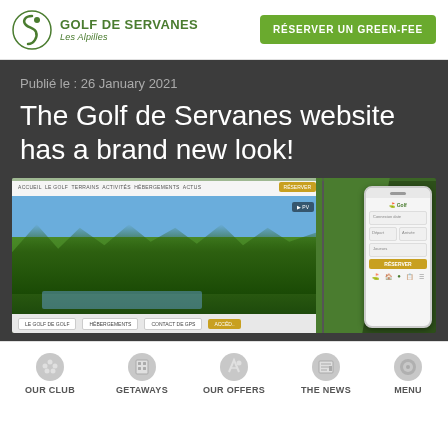Golf de Servanes – Les Alpilles | RÉSERVER UN GREEN-FEE
Publié le : 26 January 2021
The Golf de Servanes website has a brand new look!
[Figure (screenshot): Screenshot of Golf de Servanes website redesign showing the new desktop homepage with a golf course landscape photo and a mobile app booking interface on the right.]
OUR CLUB | GETAWAYS | OUR OFFERS | THE NEWS | MENU